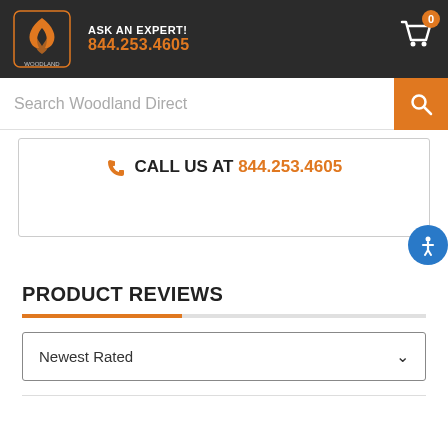ASK AN EXPERT! 844.253.4605
Search Woodland Direct
CALL US AT 844.253.4605
PRODUCT REVIEWS
Newest Rated